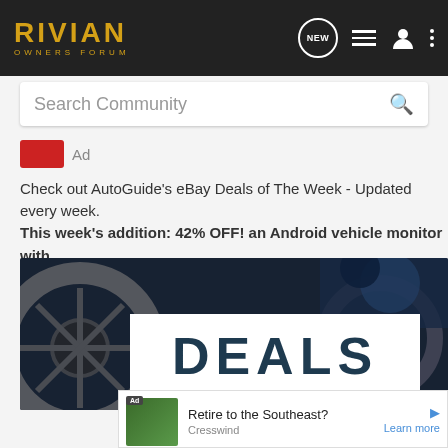RIVIAN OWNERS FORUM
Search Community
[Figure (screenshot): Ad label with small red box icon]
Check out AutoGuide's eBay Deals of The Week - Updated every week. This week's addition: 42% OFF! an Android vehicle monitor with dash cam and OBD2 scanner. And yes, it's CarPlay compatible.
[Figure (photo): Automotive parts/wheels close-up photo with DEALS text overlay]
[Figure (advertisement): Bottom ad: Retire to the Southeast? Cresswind. Learn more.]